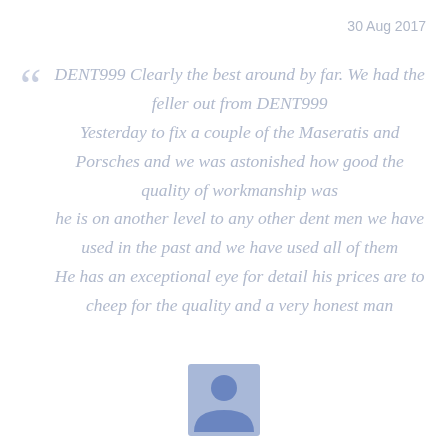30 Aug 2017
DENT999 Clearly the best around by far. We had the feller out from DENT999 Yesterday to fix a couple of the Maseratis and Porsches and we was astonished how good the quality of workmanship was he is on another level to any other dent men we have used in the past and we have used all of them He has an exceptional eye for detail his prices are to cheep for the quality and a very honest man
[Figure (illustration): Generic user avatar icon - a blue/periwinkle square with a silhouette of a person (circle for head, arc for shoulders)]